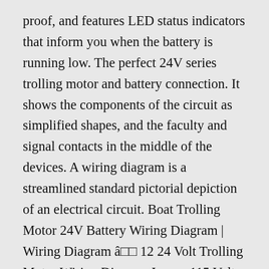proof, and features LED status indicators that inform you when the battery is running low. The perfect 24V series trolling motor and battery connection. It shows the components of the circuit as simplified shapes, and the faculty and signal contacts in the middle of the devices. A wiring diagram is a streamlined standard pictorial depiction of an electrical circuit. Boat Trolling Motor 24V Battery Wiring Diagram | Wiring Diagram â□□ 12 24 Volt Trolling Motor Wiring Diagram In..., ...115 Volt 316P760 | Manual E-Books â□□ Century Ac Motor Wiring Diagram 115 230 Volts Wiring Diagram not only provides in depth illustrations of what you can perform, but also... are able to locate this guidebook easy